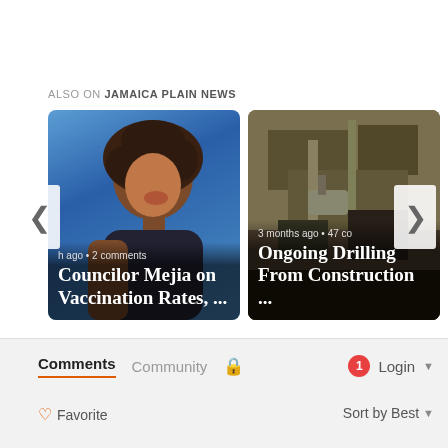ALSO ON JAMAICA PLAIN NEWS
[Figure (screenshot): Carousel with two news article cards. Left card: photo of a woman with curly hair on blue background, text '...h ago • 2 comments' and title 'Councilor Mejia on Vaccination Rates, ...'. Right card: aerial photo of construction site, text '3 months ago • 47 co' and title 'Ongoing Drilling From Construction ...'. Navigation arrows on left and right sides.]
[Figure (screenshot): Comments section UI bar with tabs: 'Comments' (active, underlined in orange), 'Community', a lock icon, a red notification badge with '1', and a 'Login' dropdown. Below: heart icon with 'Favorite' on the left, and 'Sort by Best' dropdown on the right.]